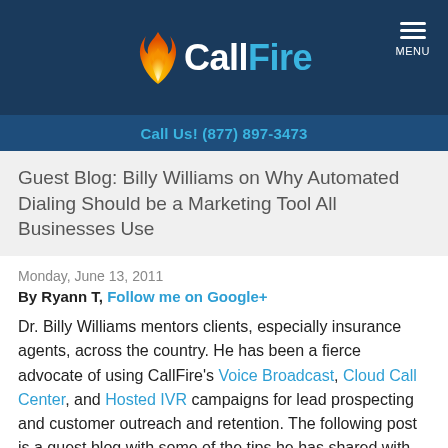CallFire — Call Us! (877) 897-3473
Guest Blog: Billy Williams on Why Automated Dialing Should be a Marketing Tool All Businesses Use
Monday, June 13, 2011
By Ryann T, Follow me on Google+
Dr. Billy Williams mentors clients, especially insurance agents, across the country. He has been a fierce advocate of using CallFire's Voice Broadcast, Cloud Call Center, and Hosted IVR campaigns for lead prospecting and customer outreach and retention. The following post is a guest blog with some of the tips he has shared with business professionals.